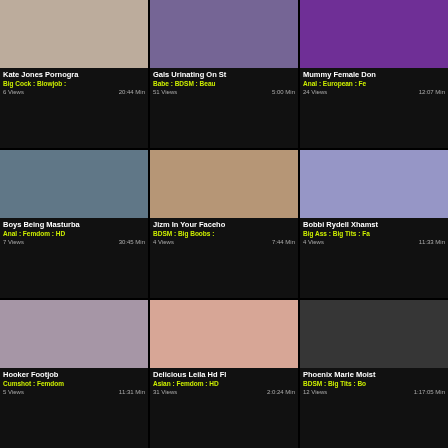[Figure (screenshot): Video thumbnail grid showing adult video listing page with 9 video cards in a 3x3 grid, each with thumbnail image, title, tags, view count and duration]
Kate Jones Pornogra
Big Cock : Blowjob :
6 Views  20:44 Min
Gals Urinating On St
Babe : BDSM : Beau
51 Views  5:00 Min
Mummy Female Don
Anal : European : Fe
24 Views  12:07 Min
Boys Being Masturba
Anal : Femdom : HD
7 Views  30:45 Min
Jizm In Your Faceho
BDSM : Big Boobs :
4 Views  7:44 Min
Bobbi Rydell Xhamst
Big Ass : Big Tits : Fa
4 Views  11:33 Min
Hooker Footjob
Cumshot : Femdom
5 Views  11:31 Min
Delicious Leila Hd Fl
Asian : Femdom : HD
31 Views  2:0:24 Min
Phoenix Marie Moist
BDSM : Big Tits : Bo
12 Views  1:17:05 Min